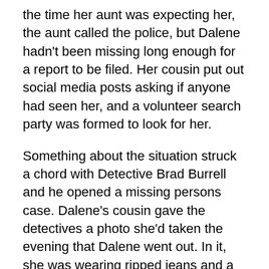the time her aunt was expecting her, the aunt called the police, but Dalene hadn't been missing long enough for a report to be filed. Her cousin put out social media posts asking if anyone had seen her, and a volunteer search party was formed to look for her.
Something about the situation struck a chord with Detective Brad Burrell  and he opened a missing persons case. Dalene's cousin gave the detectives a photo she'd taken the evening that Dalene went out. In it, she was wearing ripped jeans and a brown and white striped top. The detectives headed to Finnegan's. The bartender stated he saw her go outside at around midnight. They reviewed video surveillance and, recognizing her by her clothing, spotted her outside. They checked the feed in a hallway by the bathrooms and saw a man with a goatee put his arm around her. The took a photo of the guy and